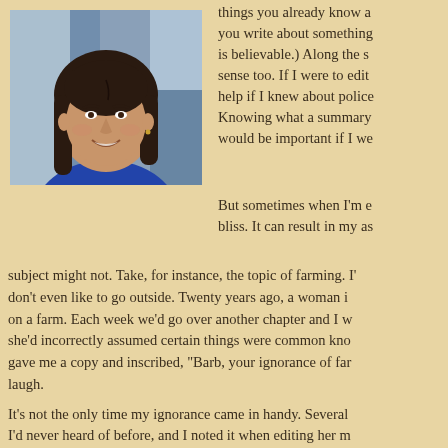[Figure (photo): Portrait photo of a middle-aged woman with long dark hair, wearing a blue top, smiling, with blurred background]
things you already know a you write about something is believable.) Along the s sense too. If I were to edit help if I knew about police Knowing what a summary would be important if I we
But sometimes when I'm e bliss. It can result in my as subject might not. Take, for instance, the topic of farming. I' don't even like to go outside. Twenty years ago, a woman i on a farm. Each week we'd go over another chapter and I w she'd incorrectly assumed certain things were common kno gave me a copy and inscribed, "Barb, your ignorance of far laugh.
It's not the only time my ignorance came in handy. Several I'd never heard of before, and I noted it when editing her m common word in the military, she said. After polling a bunch either needed to explain the acronym or change it becaus